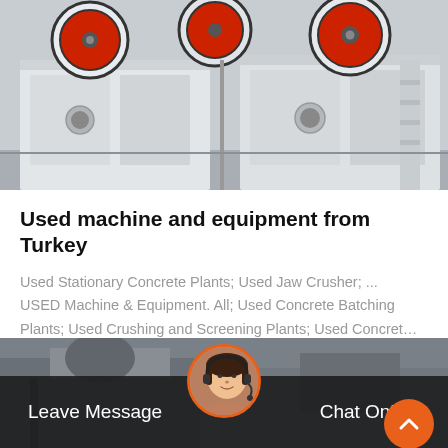[Figure (photo): Photo of used jaw crusher machines — white/grey industrial equipment with red circular flywheels, multiple units shown side by side in a factory or yard setting.]
Used machine and equipment from Turkey
Used Stationary Concrete Plants; Used Jaw Crusher; ... USED Machine & Equipment. All; Used Concrete Batching Plants; Used Crushing and Screening Plants; Used Concret…
Get Price
[Figure (photo): Background photo of industrial equipment/machinery, partially visible behind the bottom dark overlay bar.]
Leave Message
Chat Online